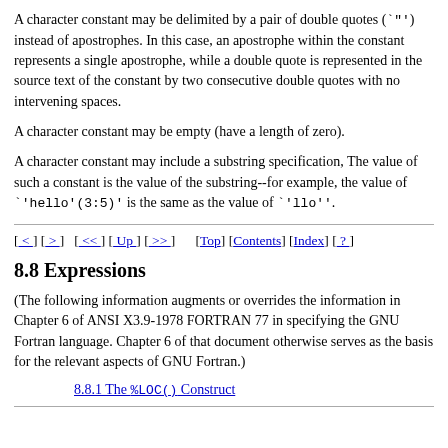A character constant may be delimited by a pair of double quotes (`"') instead of apostrophes. In this case, an apostrophe within the constant represents a single apostrophe, while a double quote is represented in the source text of the constant by two consecutive double quotes with no intervening spaces.
A character constant may be empty (have a length of zero).
A character constant may include a substring specification, The value of such a constant is the value of the substring--for example, the value of `'hello'(3:5)' is the same as the value of `'llo''.
[ < ] [ > ]   [ << ][ Up ][ >> ]        [Top] [Contents] [Index] [ ? ]
8.8 Expressions
(The following information augments or overrides the information in Chapter 6 of ANSI X3.9-1978 FORTRAN 77 in specifying the GNU Fortran language. Chapter 6 of that document otherwise serves as the basis for the relevant aspects of GNU Fortran.)
8.8.1 The %LOC( ) Construct